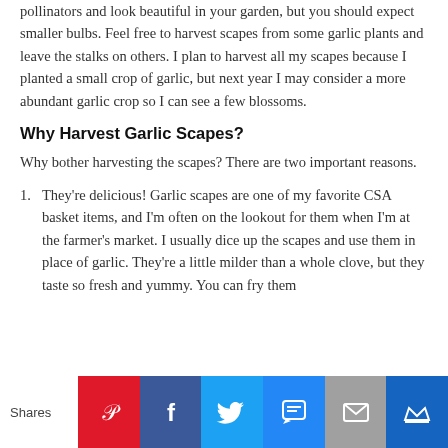pollinators and look beautiful in your garden, but you should expect smaller bulbs. Feel free to harvest scapes from some garlic plants and leave the stalks on others. I plan to harvest all my scapes because I planted a small crop of garlic, but next year I may consider a more abundant garlic crop so I can see a few blossoms.
Why Harvest Garlic Scapes?
Why bother harvesting the scapes? There are two important reasons.
They're delicious! Garlic scapes are one of my favorite CSA basket items, and I'm often on the lookout for them when I'm at the farmer's market. I usually dice up the scapes and use them in place of garlic. They're a little milder than a whole clove, but they taste so fresh and yummy. You can fry them
Shares [Pinterest] [Facebook] [Twitter] [SMS] [Email] [Crown]